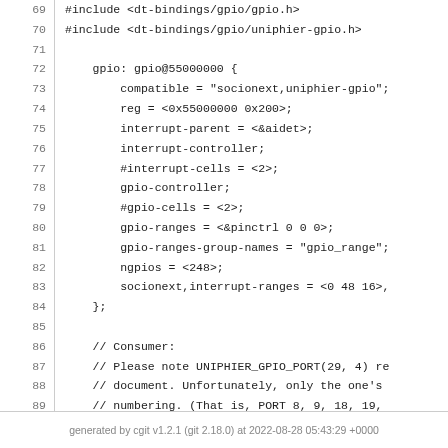Code snippet lines 69-94 showing device tree source for GPIO configuration including gpio@55000000 node and sdhci0_pwrseq consumer block
generated by cgit v1.2.1 (git 2.18.0) at 2022-08-28 05:43:29 +0000